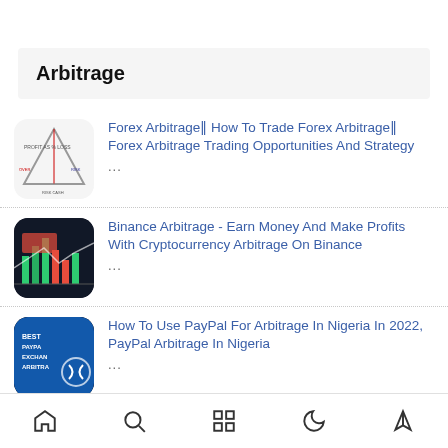Arbitrage
Forex Arbitrage‖ How To Trade Forex Arbitrage‖ Forex Arbitrage Trading Opportunities And Strategy
...
Binance Arbitrage - Earn Money And Make Profits With Cryptocurrency Arbitrage On Binance
...
How To Use PayPal For Arbitrage In Nigeria In 2022, PayPal Arbitrage In Nigeria
...
How To Create A US PayPal Account In Nigeria Or Anywhere In The World
...
Home | Search | Grid | Dark | Upload